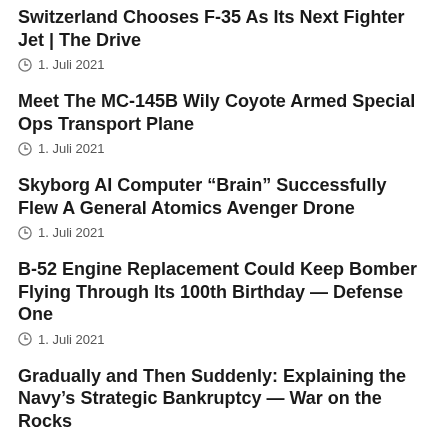Switzerland Chooses F-35 As Its Next Fighter Jet | The Drive
1. Juli 2021
Meet The MC-145B Wily Coyote Armed Special Ops Transport Plane
1. Juli 2021
Skyborg AI Computer “Brain” Successfully Flew A General Atomics Avenger Drone
1. Juli 2021
B-52 Engine Replacement Could Keep Bomber Flying Through Its 100th Birthday — Defense One
1. Juli 2021
Gradually and Then Suddenly: Explaining the Navy’s Strategic Bankruptcy — War on the Rocks